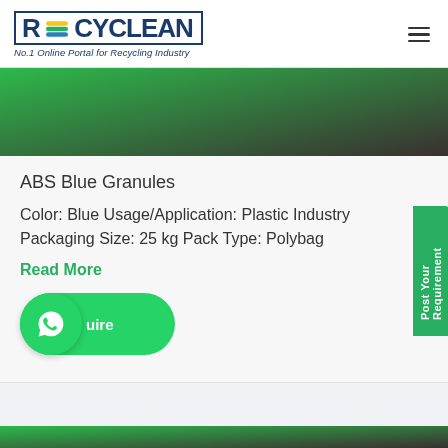RECYCLEAN - No.1 Online Portal for Recycling Industry
[Figure (illustration): Green to dark brown gradient banner image]
ABS Blue Granules
Color: Blue Usage/Application: Plastic Industry Packaging Size: 25 kg Pack Type: Polybag
Read More
[Figure (illustration): WhatsApp Enquire button with green circle and phone icon]
[Figure (illustration): Post Your Requirement green side tab]
[Figure (illustration): Bottom green gradient stripe]